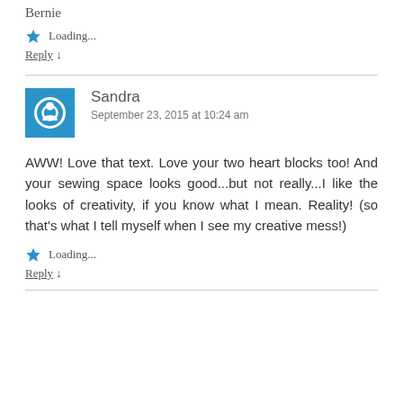Bernie
Loading...
Reply ↓
Sandra
September 23, 2015 at 10:24 am
AWW! Love that text. Love your two heart blocks too! And your sewing space looks good...but not really...I like the looks of creativity, if you know what I mean. Reality! (so that's what I tell myself when I see my creative mess!)
Loading...
Reply ↓